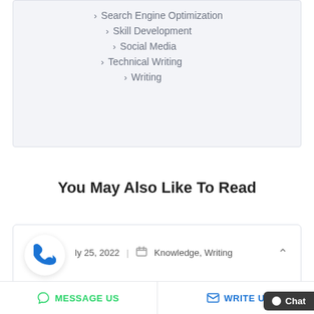Search Engine Optimization
Skill Development
Social Media
Technical Writing
Writing
You May Also Like To Read
July 25, 2022 | Knowledge, Writing
MESSAGE US
WRITE US
Chat